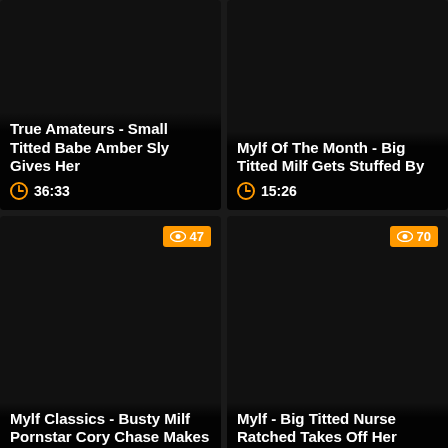[Figure (screenshot): Video thumbnail - dark/black image, top-left card]
True Amateurs - Small Titted Babe Amber Sly Gives Her
36:33
[Figure (screenshot): Video thumbnail - dark/black image, top-right card]
Mylf Of The Month - Big Titted Milf Gets Stuffed By
15:26
[Figure (screenshot): Video thumbnail - dark/black image, middle-left card, views badge 47]
Mylf Classics - Busty Milf Pornstar Cory Chase Makes
15:22
[Figure (screenshot): Video thumbnail - dark/black image, middle-right card, views badge 70]
Mylf - Big Titted Nurse Ratched Takes Off Her
15:11
[Figure (screenshot): Video thumbnail - dark/black image, bottom-left card, views badge 75]
[Figure (screenshot): Video thumbnail - dark/black image, bottom-right card, views badge 62]